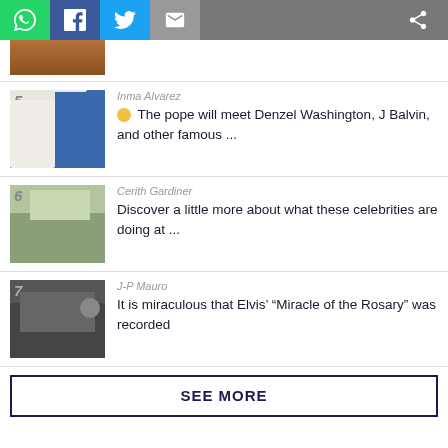[Figure (screenshot): Social sharing bar with WhatsApp, Facebook, Twitter, Email, and share icons]
[Figure (photo): Partial article thumbnail at top]
5 Inma Alvarez — The pope will meet Denzel Washington, J Balvin, and other famous ...
6 Cerith Gardiner — Discover a little more about what these celebrities are doing at ...
7 J-P Mauro — It is miraculous that Elvis' “Miracle of the Rosary” was recorded
SEE MORE